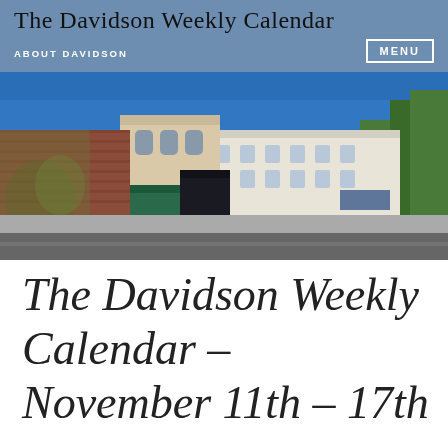The Davidson Weekly Calendar
ABOUT DAVIDSON
MENU
[Figure (photo): Street-level photo of a small-town main street with historic commercial buildings, murals on brick walls, green awnings, parked cars, and trees under a clear blue sky — downtown Davidson, NC.]
The Davidson Weekly Calendar – November 11th – 17th